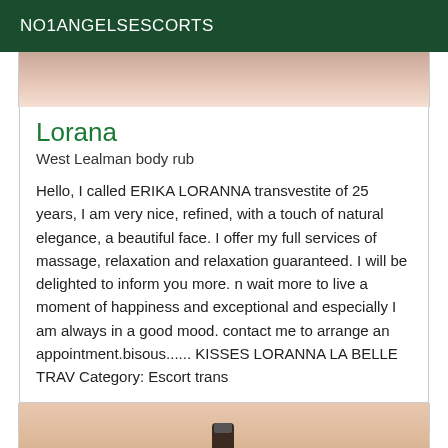NO1ANGELSESCORTS
[Figure (photo): Partial photo of a person, cropped, showing skin tones in beige/brown]
Lorana
West Lealman body rub
Hello, I called ERIKA LORANNA transvestite of 25 years, I am very nice, refined, with a touch of natural elegance, a beautiful face. I offer my full services of massage, relaxation and relaxation guaranteed. I will be delighted to inform you more. n wait more to live a moment of happiness and exceptional and especially I am always in a good mood. contact me to arrange an appointment.bisous...... KISSES LORANNA LA BELLE TRAV Category: Escort trans
[Figure (photo): Partial photo showing what appears to be a hand holding a makeup or cosmetic item, warm beige tones]